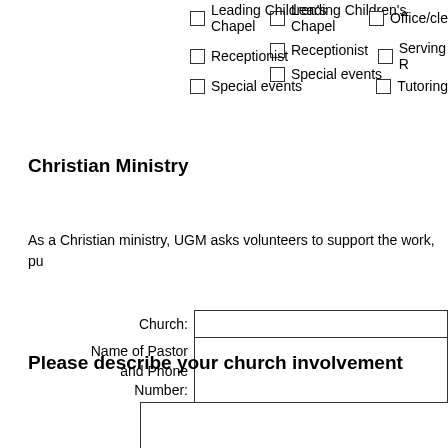Leading Children's Chapel
Office/cle...
Receptionist
Serving R...
Special events
Tutoring...
Christian Ministry
As a Christian ministry, UGM asks volunteers to support the work, pu...
Church: [input field]
Name of Pastor and Phone Number: [textarea]
Please describe your church involvement
[textarea for church involvement]